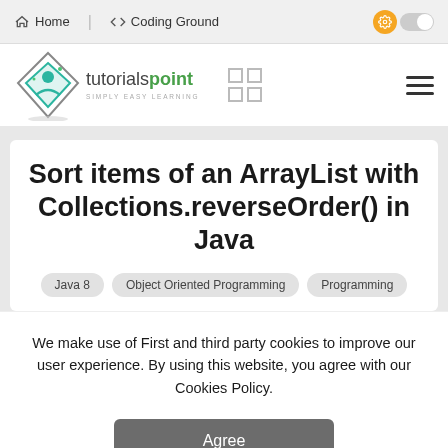Home   </> Coding Ground
[Figure (logo): Tutorialspoint logo with diamond shape and text 'tutorialspoint SIMPLY EASY LEARNING']
Sort items of an ArrayList with Collections.reverseOrder() in Java
Java 8
Object Oriented Programming
Programming
We make use of First and third party cookies to improve our user experience. By using this website, you agree with our Cookies Policy.
Agree
Learn more